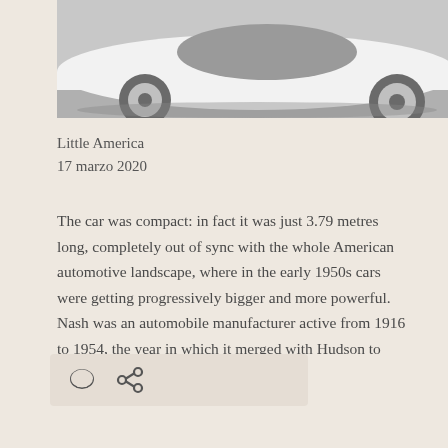[Figure (photo): Black and white cropped photograph of a vintage compact car, showing the front wheel and low body of the vehicle, likely from the 1950s era.]
Little America
17 marzo 2020
The car was compact: in fact it was just 3.79 metres long, completely out of sync with the whole American automotive landscape, where in the early 1950s cars were getting progressively bigger and more powerful. Nash was an automobile manufacturer active from 1916 to 1954, the year in which it merged with Hudson to form … More
[Figure (other): Action icons bar with a comment bubble icon and a share/link icon on a slightly darker background strip.]